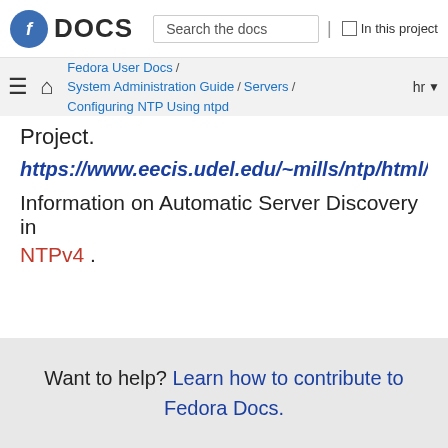Fedora DOCS | Search the docs | In this project
Fedora User Docs / System Administration Guide / Servers / Configuring NTP Using ntpd | hr
Project.
https://www.eecis.udel.edu/~mills/ntp/html/manyopt.
Information on Automatic Server Discovery in NTPv4 .
Want to help? Learn how to contribute to Fedora Docs.